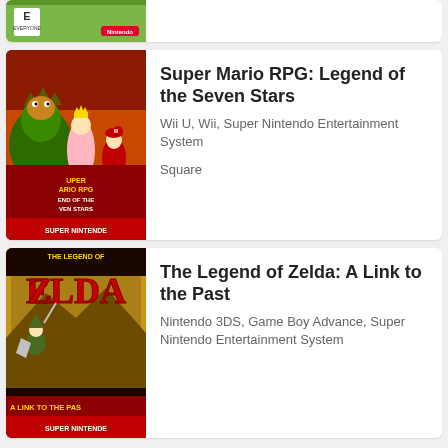[Figure (screenshot): Partial game card showing top portion of a Nintendo game cover with ESRB rating E and Nintendo logo on green background]
[Figure (photo): Super Mario RPG: Legend of the Seven Stars game cover art showing Bowser, Princess Peach, Mario and other characters]
Super Mario RPG: Legend of the Seven Stars
Wii U, Wii, Super Nintendo Entertainment System
Square
[Figure (photo): The Legend of Zelda: A Link to the Past game cover art showing Zelda logo in golden/red tones]
The Legend of Zelda: A Link to the Past
Nintendo 3DS, Game Boy Advance, Super Nintendo Entertainment System